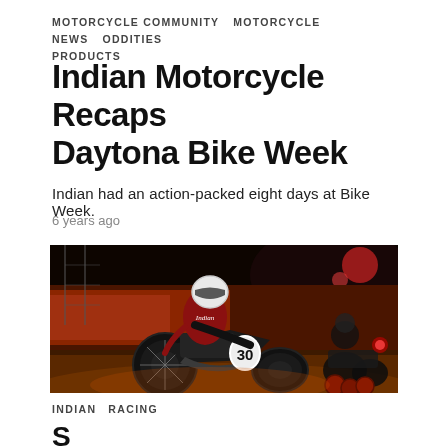MOTORCYCLE COMMUNITY   MOTORCYCLE NEWS   ODDITIES   PRODUCTS
Indian Motorcycle Recaps Daytona Bike Week
Indian had an action-packed eight days at Bike Week.
6 years ago
[Figure (photo): A motorcycle racer wearing an Indian Motorcycle jersey and white helmet leaning into a turn on a flat-track style motorcycle with number 30, another motorcycle visible in the dark background]
INDIAN   RACING
S...